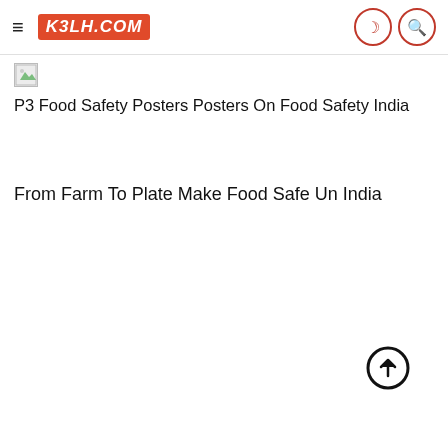≡  K3LH.COM
[Figure (photo): Broken image placeholder icon (small, top-left of content area)]
P3 Food Safety Posters Posters On Food Safety India
From Farm To Plate Make Food Safe Un India